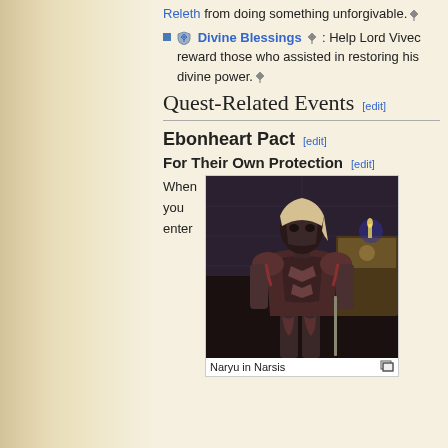Releth from doing something unforgivable. ▼
Divine Blessings ▼: Help Lord Vivec reward those who assisted in restoring his divine power. ▼
Quest-Related Events [edit]
Ebonheart Pact [edit]
For Their Own Protection [edit]
When you enter
[Figure (photo): Screenshot of Naryu, an armored character, in the game location Narsis]
Naryu in Narsis